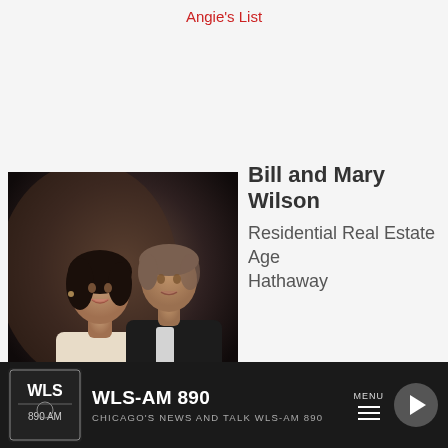Angie's List
[Figure (photo): Professional photo of Bill and Mary Wilson, a man and woman posed together against a dark background]
Bill and Mary Wilson
Residential Real Estate Age Hathaway
Helping with the sale or purchase of your h first or your fifth, is what we do best. We wa comfortable with the process and comforta Open dialogue, honest opinions, and straig current market conditions are the principles with you in order to help you through the pr the best in service and integrity, we are the
WLS-AM 890
CHICAGO'S NEWS AND TALK WLS-AM 890
MENU